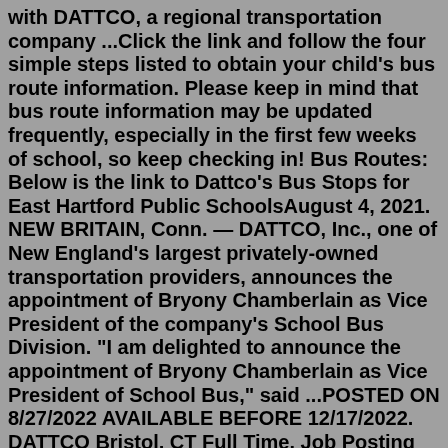with DATTCO, a regional transportation company ...Click the link and follow the four simple steps listed to obtain your child's bus route information. Please keep in mind that bus route information may be updated frequently, especially in the first few weeks of school, so keep checking in! Bus Routes: Below is the link to Dattco's Bus Stops for East Hartford Public SchoolsAugust 4, 2021. NEW BRITAIN, Conn. — DATTCO, Inc., one of New England's largest privately-owned transportation providers, announces the appointment of Bryony Chamberlain as Vice President of the company's School Bus Division. "I am delighted to announce the appointment of Bryony Chamberlain as Vice President of School Bus," said ...POSTED ON 8/27/2022 AVAILABLE BEFORE 12/17/2022. DATTCO Bristol, CT Full Time. Job Posting for Driver at DATTCO ...Buy Bus Tickets for Plymouth & Brockton Bus Service. We offer daily service to/from Logan Airport and TF Green Airport. ... View Bus Routes; Affiliated Companies. McGinn Bus Company; Massachusetts Transportation